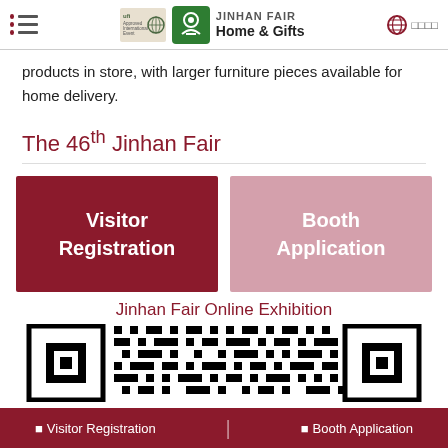JINHAN FAIR Home & Gifts
products in store, with larger furniture pieces available for home delivery.
The 46th Jinhan Fair
[Figure (other): Visitor Registration button (dark red) and Booth Application button (light pink)]
Jinhan Fair Online Exhibition
[Figure (other): QR code image for Jinhan Fair Online Exhibition]
Visitor Registration | Booth Application